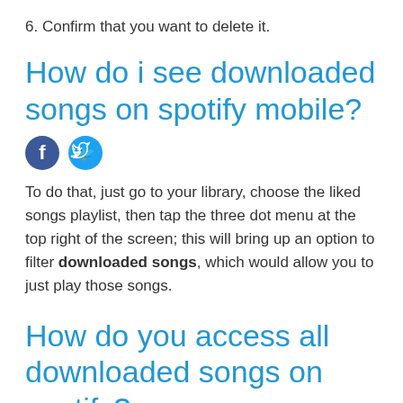6. Confirm that you want to delete it.
How do i see downloaded songs on spotify mobile?
[Figure (other): Facebook and Twitter social share icons]
To do that, just go to your library, choose the liked songs playlist, then tap the three dot menu at the top right of the screen; this will bring up an option to filter downloaded songs, which would allow you to just play those songs.
How do you access all downloaded songs on spotify?